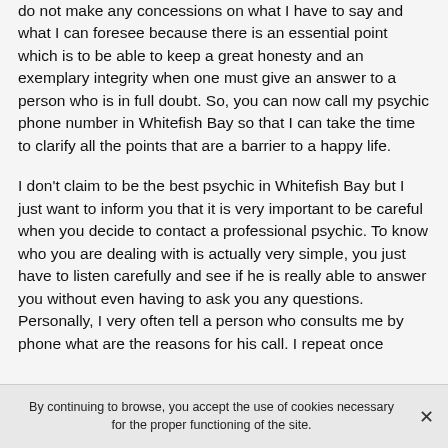do not make any concessions on what I have to say and what I can foresee because there is an essential point which is to be able to keep a great honesty and an exemplary integrity when one must give an answer to a person who is in full doubt. So, you can now call my psychic phone number in Whitefish Bay so that I can take the time to clarify all the points that are a barrier to a happy life.
I don't claim to be the best psychic in Whitefish Bay but I just want to inform you that it is very important to be careful when you decide to contact a professional psychic. To know who you are dealing with is actually very simple, you just have to listen carefully and see if he is really able to answer you without even having to ask you any questions. Personally, I very often tell a person who consults me by phone what are the reasons for his call. I repeat once
By continuing to browse, you accept the use of cookies necessary for the proper functioning of the site.